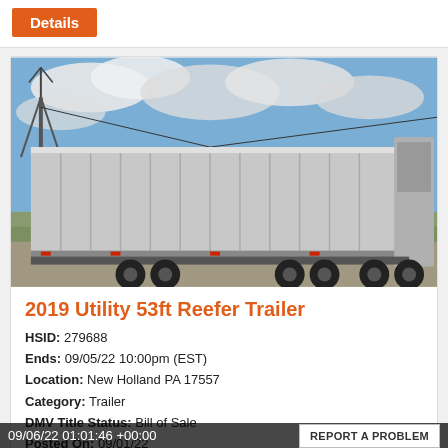Details
[Figure (photo): Photo of a 2019 Utility 53ft Reefer Trailer, silver aluminum ribbed refrigerated semi-trailer, parked outdoors with blue sky and clouds in background, windmill visible on left side.]
2019 Utility 53ft Reefer Trailer
HSID: 279688
Ends: 09/05/22 10:00pm (EST)
Location: New Holland PA 17557
Category: Trailer
DMV Title Status: Bill of Sale
09/06/22 01:01:46 +00:00
Posted On: 09/01/22